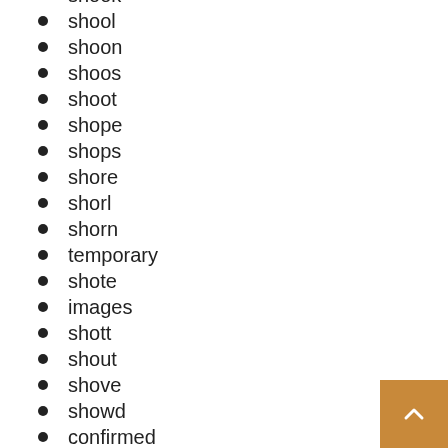shook
shool
shoon
shoos
shoot
shope
shops
shore
shorl
shorn
temporary
shote
images
shott
shout
shove
showd
confirmed
reveals